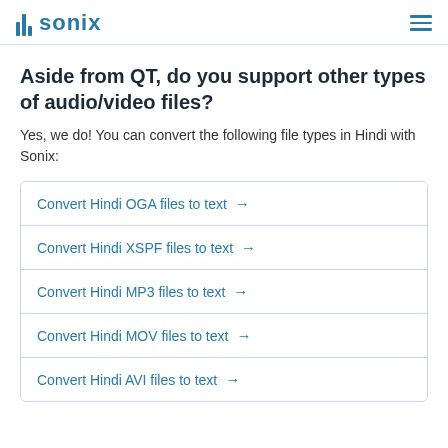sonix
Aside from QT, do you support other types of audio/video files?
Yes, we do! You can convert the following file types in Hindi with Sonix:
Convert Hindi OGA files to text →
Convert Hindi XSPF files to text →
Convert Hindi MP3 files to text →
Convert Hindi MOV files to text →
Convert Hindi AVI files to text →